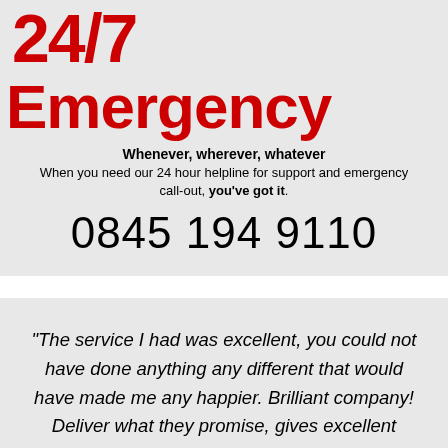24/7 Emergency
Whenever, wherever, whatever
When you need our 24 hour helpline for support and emergency call-out, you've got it.
0845 194 9110
"The service I had was excellent, you could not have done anything any different that would have made me any happier. Brilliant company! Deliver what they promise, gives excellent value for money with a brilliant group of workers who gives that extra special touch and care to there customers."